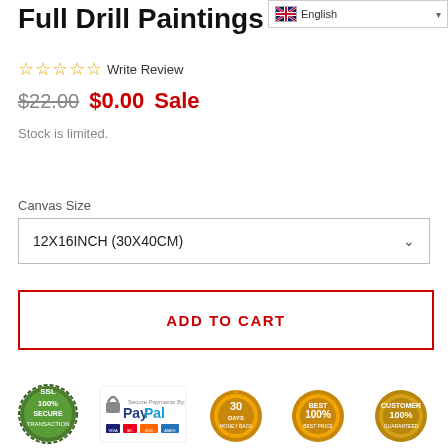English
Full Drill Paintings
☆ ☆ ☆ ☆ ☆ Write Review
$22.00  $0.00 Sale
Stock is limited.
Canvas Size
12X16INCH (30X40CM)
ADD TO CART
[Figure (infographic): Trust badges row: SSL Secured Transaction badge, Secure Payments by PayPal (VISA, MasterCard, Discover, Amex), 30 Days Money Back guarantee badge, 100% Best Price Guaranteed badge, 100% Customer Satisfaction Guaranteed badge]